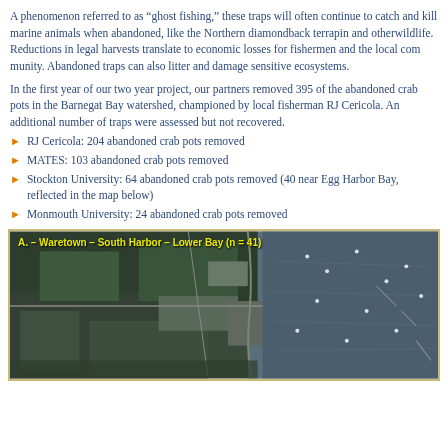A phenomenon referred to as “ghost fishing,” these traps will often continue to catch and kill marine animals when abandoned, like the Northern diamondback terrapin and other wildlife. Reductions in legal harvests translate to economic losses for fishermen and the local community. Abandoned traps can also litter and damage sensitive ecosystems.
In the first year of our two year project, our partners removed 395 of the abandoned crab pots in the Barnegat Bay watershed, championed by local fisherman RJ Cericola. An additional number of traps were assessed but not recovered.
RJ Cericola: 204 abandoned crab pots removed
MATES: 103 abandoned crab pots removed
Stockton University: 64 abandoned crab pots removed (40 near Egg Harbor Bay, reflected in the map below)
Monmouth University: 24 abandoned crab pots removed
[Figure (photo): Satellite aerial map image labeled 'A. – Waretown – South Harbor – Lower Bay (n = 41)' showing a coastal area with land, water, and what appears to be crab pot locations marked.]